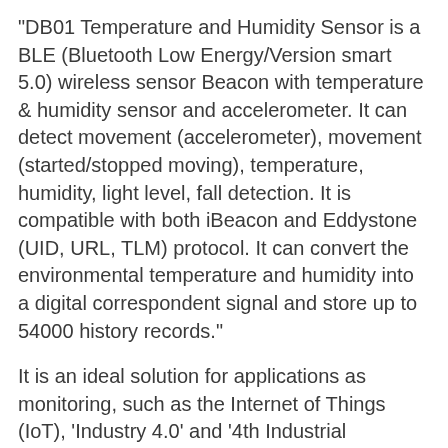“DB01 Temperature and Humidity Sensor is a BLE (Bluetooth Low Energy/Version smart 5.0) wireless sensor Beacon with temperature & humidity sensor and accelerometer. It can detect movement (accelerometer), movement (started/stopped moving), temperature, humidity, light level, fall detection. It is compatible with both iBeacon and Eddystone (UID, URL, TLM) protocol. It can convert the environmental temperature and humidity into a digital correspondent signal and store up to 54000 history records.”
It is an ideal solution for applications as monitoring, such as the Internet of Things (IoT), ‘Industry 4.0’ and ‘4th Industrial Revolution’ (4IR) applications. Cold Chain monitoring, Warehouse & Storage monitoring, Greenhouse monitoring and Acceleration monitoring etc.